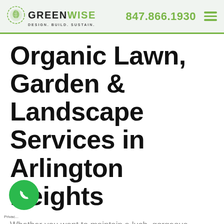GREENWISE DESIGN. BUILD. SUSTAIN. | 847.866.1930
Organic Lawn, Garden & Landscape Services in Arlington Heights
Whether you want to maintain a lush, gorgeous landscape or you're looking to design something entirely new, you can feel confident choosing Greenwise, the leading organic landscaping company in Arlington Heights. Through our in-depth